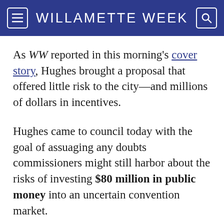WILLAMETTE WEEK
As WW reported in this morning's cover story, Hughes brought a proposal that offered little risk to the city—and millions of dollars in incentives.
Hughes came to council today with the goal of assuaging any doubts commissioners might still harbor about the risks of investing $80 million in public money into an uncertain convention market.
"We don't have to speculate what the worst-case scenario is," Hughes said. "We've seen the worst-